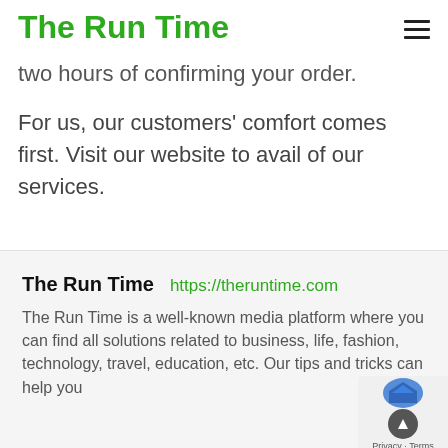The Run Time
two hours of confirming your order.
For us, our customers' comfort comes first. Visit our website to avail of our services.
The Run Time  https://theruntime.com
The Run Time is a well-known media platform where you can find all solutions related to business, life, fashion, technology, travel, education, etc. Our tips and tricks can help you